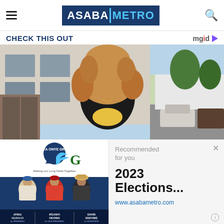ASABA METRO
CHECK THIS OUT
[Figure (photo): Woman with large curly light-brown hair standing outside in front of a building and parked cars, wearing a dark top with floral print]
[Figure (photo): Political campaign advertisement showing Delta Onye Group logo with Atiku Abubakar for President, Ifeanyi Okowa for Vice President, and David Edevbie for Governor]
Recommended for you
2023 Elections...
www.asabametro.com